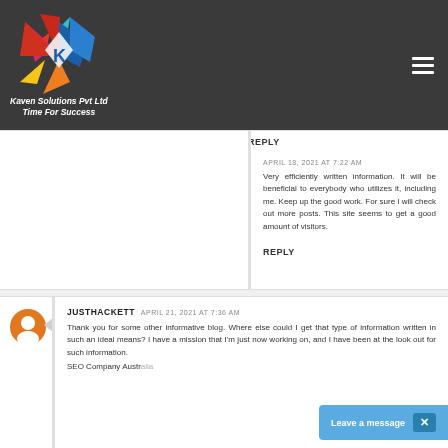[Figure (logo): Kaven Solutions Pvt Ltd colorful star/K logo with text 'Kaven Solutions Pvt Ltd Time For Success' on dark background]
Reply
APRIL 18, 2021 AT 7:22 AM
Very efficiently written information. It will be beneficial to everybody who utilizes it, including me. Keep up the good work. For sure I will check out more posts. This site seems to get a good amount of visitors.
Reply
JUSTHACKETT  APRIL 21, 2021 AT 7:36 AM
Thank you for some other informative blog. Where else could I get that type of information written in such an ideal means? I have a mission that I'm just now working on, and I have been at the look out for such information.
SEO Company Australia
Leave a message